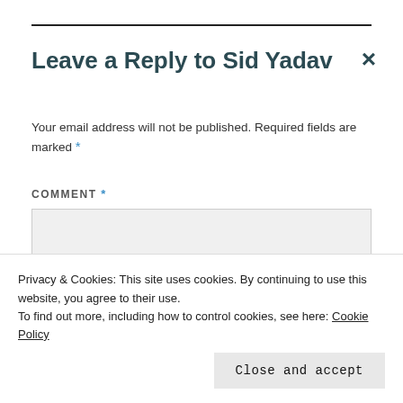Leave a Reply to Sid Yadav ×
Your email address will not be published. Required fields are marked *
COMMENT *
[Figure (other): Empty comment textarea input box with light grey background]
Privacy & Cookies: This site uses cookies. By continuing to use this website, you agree to their use.
To find out more, including how to control cookies, see here: Cookie Policy
Close and accept